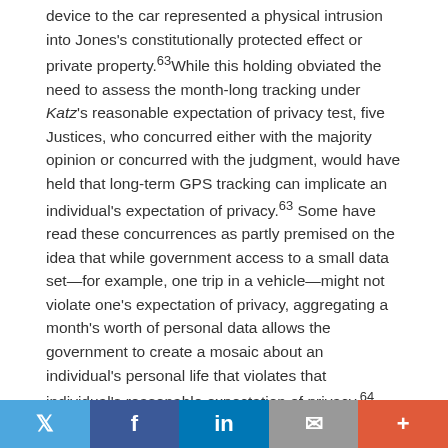device to the car represented a physical intrusion into Jones's constitutionally protected effect or private property.63While this holding obviated the need to assess the month-long tracking under Katz's reasonable expectation of privacy test, five Justices, who concurred either with the majority opinion or concurred with the judgment, would have held that long-term GPS tracking can implicate an individual's expectation of privacy.63 Some have read these concurrences as partly premised on the idea that while government access to a small data set—for example, one trip in a vehicle—might not violate one's expectation of privacy, aggregating a month's worth of personal data allows the government to create a mosaic about an individual's personal life that violates that individual's reasonable expectation of privacy.64
The Court confirmed in Carpenter v. United States that the
Twitter | Facebook | LinkedIn | Email | More